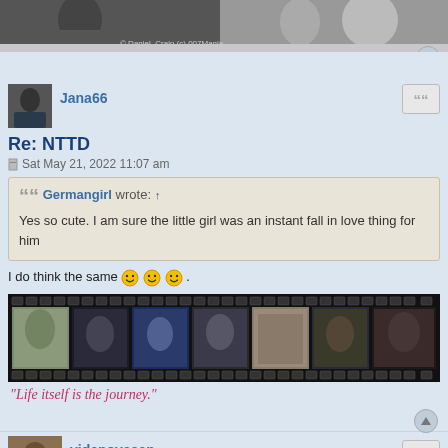[Figure (photo): Top banner showing faces/actors, partially cropped with watermark text]
Jana66
Re: NTTD
Sat May 21, 2022 11:07 am
Germangirl wrote: ↑
Yes so cute. I am sure the little girl was an instant fall in love thing for him
I do think the same 😊😊😊 .
[Figure (photo): Film strip image with multiple frames showing various scenes/people]
"Life itself is the journey."
videnovasan